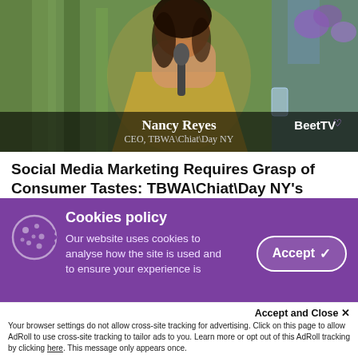[Figure (photo): Photo of Nancy Reyes, CEO of TBWA\Chiat\Day NY, sitting outdoors holding a microphone, with BeetTV logo overlay and name/title caption]
Social Media Marketing Requires Grasp of Consumer Tastes: TBWA\Chiat\Day NY's Nancy Reyes
CANNES – Brands that seek to engage consumers on newer social media apps such as Snapchat, TikTok and BeReal must
Cookies policy
Our website uses cookies to analyse how the site is used and to ensure your experience is
Accept and Close ×
Your browser settings do not allow cross-site tracking for advertising. Click on this page to allow AdRoll to use cross-site tracking to tailor ads to you. Learn more or opt out of this AdRoll tracking by clicking here. This message only appears once.